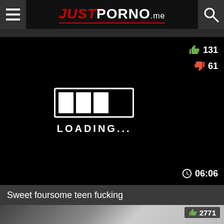JUST PORNO .me
[Figure (screenshot): Video player showing a loading screen with black background, a progress bar partially filled, text LOADING..., vote counts 131 up and 61 down, and duration 06:06]
Sweet foursome teen fucking
[Figure (photo): Second video thumbnail partially visible with vote count 2771]